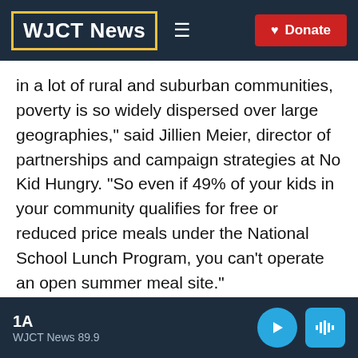WJCT News
in a lot of rural and suburban communities, poverty is so widely dispersed over large geographies," said Jillien Meier, director of partnerships and campaign strategies at No Kid Hungry. "So even if 49% of your kids in your community qualifies for free or reduced price meals under the National School Lunch Program, you can't operate an open summer meal site."
1A WJCT News 89.9